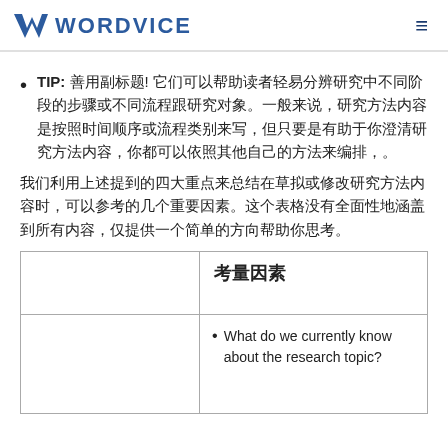WORDVICE
TIP: 善用副标题! 它们可以帮助读者轻易分辨研究中不同阶段的步骤或不同流程跟研究对象。一般来说，研究方法内容是按照时间顺序或流程类别来写，但只要是有助于你澄清研究方法内容，你都可以依照其他自己的方法来编排，。
我们利用上述提到的四大重点来总结在草拟或修改研究方法内容时，可以参考的几个重要因素。这个表格没有全面性地涵盖到所有内容，仅提供一个简单的方向帮助你思考。
|  | 考量因素 |
| --- | --- |
|  | • What do we currently know about the research topic? |